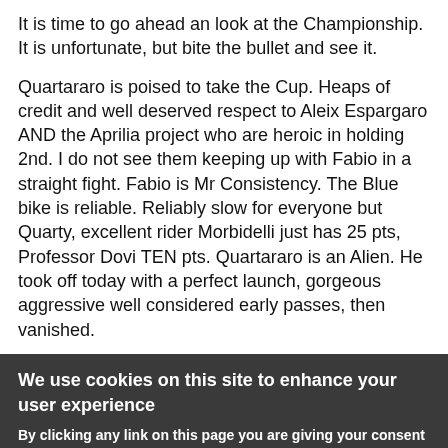It is time to go ahead an look at the Championship. It is unfortunate, but bite the bullet and see it.
Quartararo is poised to take the Cup. Heaps of credit and well deserved respect to Aleix Espargaro AND the Aprilia project who are heroic in holding 2nd. I do not see them keeping up with Fabio in a straight fight. Fabio is Mr Consistency. The Blue bike is reliable. Reliably slow for everyone but Quarty, excellent rider Morbidelli just has 25 pts, Professor Dovi TEN pts. Quartararo is an Alien. He took off today with a perfect launch, gorgeous aggressive well considered early passes, then vanished.
We use cookies on this site to enhance your user experience
By clicking any link on this page you are giving your consent for us to set cookies. No, give me more info
OK, I agree